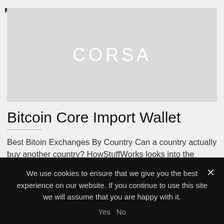[Figure (logo): Gray banner with white text 'CORSA' in large spaced letters]
Bitcoin Core Import Wallet
Best Bitoin Exchanges By Country Can a country actually buy another country? HowStuffWorks looks into the history and feasibility of countries buying and selling each other. Advertisement In August 2019, President Donald Trump...
We use cookies to ensure that we give you the best experience on our website. If you continue to use this site we will assume that you are happy with it.
Yes  No